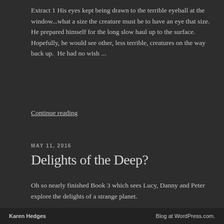Extract 1 His eyes kept being drawn to the terrible eyeball at the window...what a size the creature must be to have an eye that size.  He prepared himself for the long slow haul up to the surface.  Hopefully, he would see other, less terrible, creatures on the way back up.  He had no wish ...
Continue reading
MAY 11, 2016
Delights of the Deep?
Oh so nearly finished Book 3 which sees Lucy, Danny and Peter explore the delights of a strange planet.
Karen Hedges   Blog at WordPress.com.